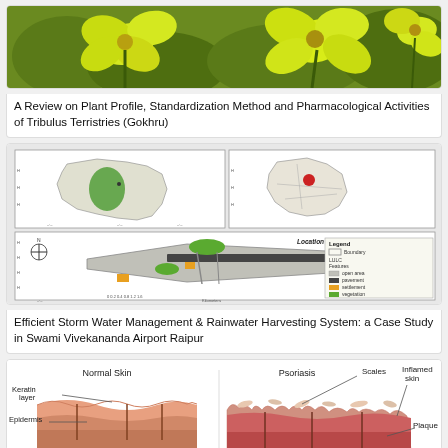[Figure (photo): Yellow flowers of Tribulus Terristries (Gokhru) plant against green foliage background]
A Review on Plant Profile, Standardization Method and Pharmacological Activities of Tribulus Terristries (Gokhru)
[Figure (map): Location Map of Study Area showing India map with highlighted region, state map with red dot, and detailed airport site map with legend showing boundary, LULC features: open area, pavement, settlement, vegetation]
Efficient Storm Water Management & Rainwater Harvesting System: a Case Study in Swami Vivekananda Airport Raipur
[Figure (illustration): Medical illustration comparing Normal Skin (showing Keratin layer and Epidermis labels) versus Psoriasis skin (showing Scales, Inflamed skin, and Plaque labels)]